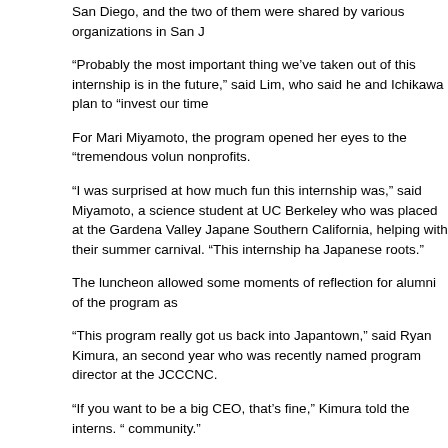San Diego, and the two of them were shared by various organizations in San J
“Probably the most important thing we’ve taken out of this internship is in the future,” said Lim, who said he and Ichikawa plan to “invest our time
For Mari Miyamoto, the program opened her eyes to the “tremendous volun nonprofits.
“I was surprised at how much fun this internship was,” said Miyamoto, a science student at UC Berkeley who was placed at the Gardena Valley Japane Southern California, helping with their summer carnival. “This internship ha Japanese roots.”
The luncheon allowed some moments of reflection for alumni of the program as
“This program really got us back into Japantown,” said Ryan Kimura, an second year who was recently named program director at the JCCCNC.
“If you want to be a big CEO, that’s fine,” Kimura told the interns. “ community.”
Alan Nishio, the chair of the CJACLC, said it’s “always so rewarding” through the program. “Our future is in good hands,” he told the gathering
While reflecting on the success of the NCI program, Osaki also issued a warning to continue to be involved in the community. “If you don’t make it happe be anyone to make it happen,” he said. “Our community needs you.”